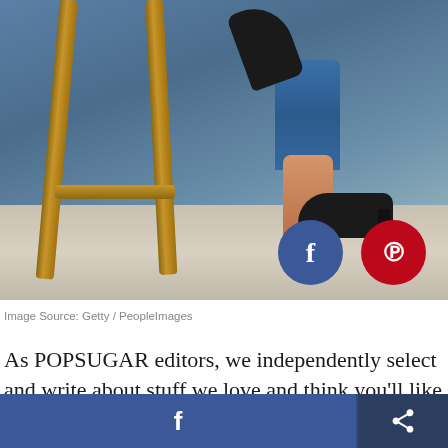[Figure (photo): Photo of a person's legs next to a wooden stool. The person is wearing jeans and holding a black high heel shoe, while another black high heel is on a grey carpet floor. Blue background. Social share buttons (Facebook and Pinterest) overlaid on the bottom-right of the image.]
Image Source: Getty / PeopleImages
As POPSUGAR editors, we independently select and write about stuff we love and think you'll like too. If you buy a product we have recommended, we